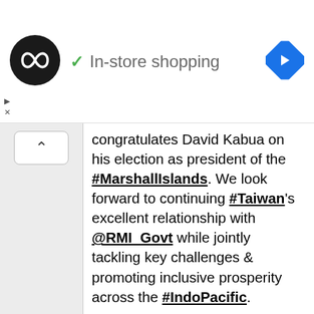[Figure (screenshot): Ad banner showing a circular dark logo with infinity-like symbol, green checkmark, text 'In-store shopping', and a blue diamond navigation arrow on the right. Small play and close controls at bottom left.]
congratulates David Kabua on his election as president of the #MarshallIslands. We look forward to continuing #Taiwan's excellent relationship with @RMI_Govt while jointly tackling key challenges & promoting inclusive prosperity across the #IndoPacific.
[Figure (photo): Two men wearing traditional flower/leaf leis standing together smiling at a formal event. Left man in dark suit with green and red lei, right man in dark suit with red and green lei. Other people visible in background.]